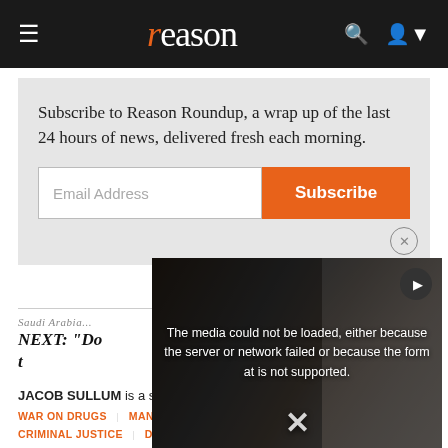reason
Subscribe to Reason Roundup, a wrap up of the last 24 hours of news, delivered fresh each morning.
Email Address
Subscribe
NEXT: "Do... t..."
JACOB SULLUM is a s...
WAR ON DRUGS   MAN...
CRIMINAL JUSTICE   DRUGS
[Figure (screenshot): Video player overlay showing error message: 'The media could not be loaded, either because the server or network failed or because the format is not supported.' with a play button icon and close X button, overlaid on a dark background image.]